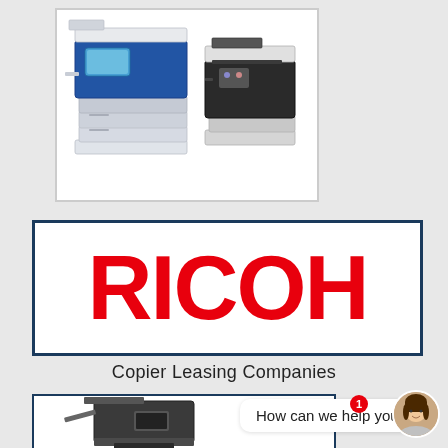[Figure (photo): Two office multifunction printers/copiers side by side — a large blue/white Xerox model on the left and a smaller black/white model on the right, on a white background]
[Figure (logo): RICOH logo in large bold red capital letters inside a rectangular border with dark blue/navy outline]
Copier Leasing Companies
[Figure (screenshot): Bottom portion of a webpage showing a multifunction copier on the left inside a bordered box, and a chat widget on the right with message 'How can we help you?', a notification badge showing '1', a close X button, and a female avatar photo]